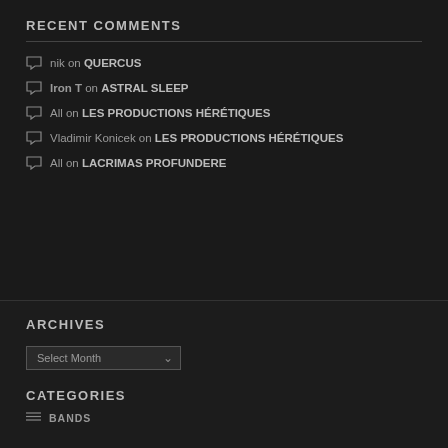RECENT COMMENTS
nik on QUERCUS
Iron T on ASTRAL SLEEP
All on LES PRODUCTIONS HÉRÉTIQUES
Vladimir Konicek on LES PRODUCTIONS HÉRÉTIQUES
All on LACRIMAS PROFUNDERE
ARCHIVES
Select Month
CATEGORIES
BANDS